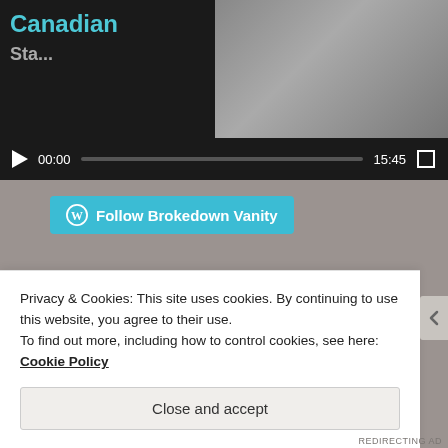[Figure (screenshot): Video player showing 'Canadian' text in cyan on dark background with video thumbnail on right, play controls showing 00:00 current time and 15:45 total duration]
[Figure (other): WordPress Follow Brokedown Vanity button in teal/blue color]
FOLLOW BROKEDOWN VANITY VIA EMAIL
Enter your email address to follow this blog and receive notifications of new posts by email.
Enter your email address
Privacy & Cookies: This site uses cookies. By continuing to use this website, you agree to their use.
To find out more, including how to control cookies, see here: Cookie Policy
Close and accept